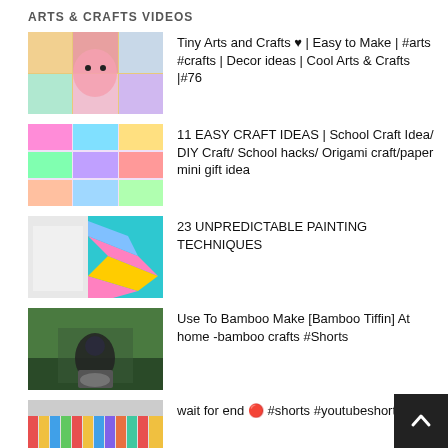ARTS & CRAFTS VIDEOS
Tiny Arts and Crafts ♥ | Easy to Make | #arts #crafts | Decor ideas | Cool Arts & Crafts |#76
11 EASY CRAFT IDEAS | School Craft Idea/ DIY Craft/ School hacks/ Origami craft/paper mini gift idea
23 UNPREDICTABLE PAINTING TECHNIQUES
Use To Bamboo Make [Bamboo Tiffin] At home -bamboo crafts #Shorts
wait for end 🔴 #shorts #youtubeshorts